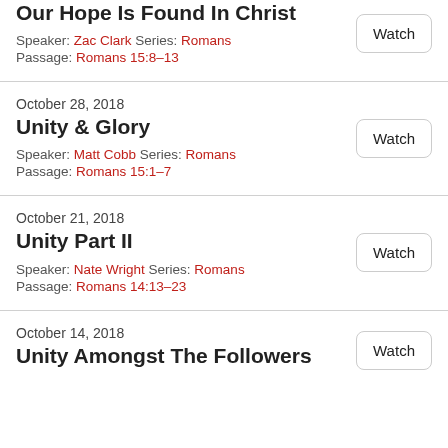Our Hope Is Found In Christ
Speaker: Zac Clark Series: Romans
Passage: Romans 15:8–13
October 28, 2018
Unity & Glory
Speaker: Matt Cobb Series: Romans
Passage: Romans 15:1–7
October 21, 2018
Unity Part II
Speaker: Nate Wright Series: Romans
Passage: Romans 14:13–23
October 14, 2018
Unity Amongst The Followers